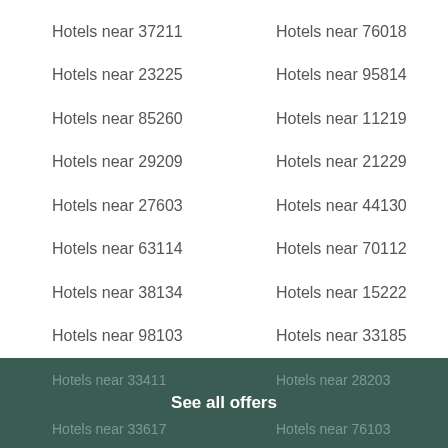Hotels near 37211
Hotels near 76018
Hotels near 23225
Hotels near 95814
Hotels near 85260
Hotels near 11219
Hotels near 29209
Hotels near 21229
Hotels near 27603
Hotels near 44130
Hotels near 63114
Hotels near 70112
Hotels near 38134
Hotels near 15222
Hotels near 98103
Hotels near 33185
See all offers